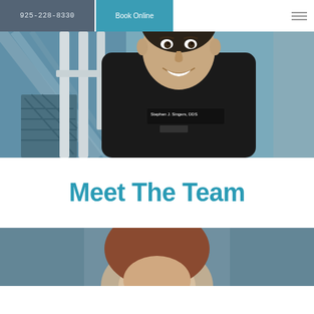925-228-8330 | Book Online
[Figure (photo): Portrait photo of a male dentist in black scrubs labeled 'Stephen J. Singers, DDS', smiling outdoors near wooden lattice/railing structure with blue-teal background]
Meet The Team
[Figure (photo): Partial photo of a team member, cropped at bottom of page]